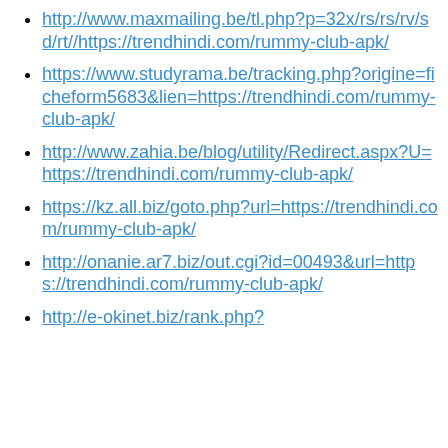http://www.maxmailing.be/tl.php?p=32x/rs/rs/rv/sd/rt//https://trendhindi.com/rummy-club-apk/
https://www.studyrama.be/tracking.php?origine=ficheform5683&lien=https://trendhindi.com/rummy-club-apk/
http://www.zahia.be/blog/utility/Redirect.aspx?U=https://trendhindi.com/rummy-club-apk/
https://kz.all.biz/goto.php?url=https://trendhindi.com/rummy-club-apk/
http://onanie.ar7.biz/out.cgi?id=00493&url=https://trendhindi.com/rummy-club-apk/
http://e-okinet.biz/rank.php?